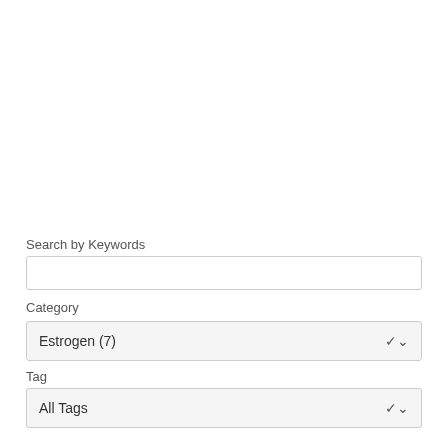Search by Keywords
[Figure (screenshot): Search input text field (empty)]
Category
[Figure (screenshot): Dropdown selector showing 'Estrogen (7)']
Tag
[Figure (screenshot): Dropdown selector showing 'All Tags']